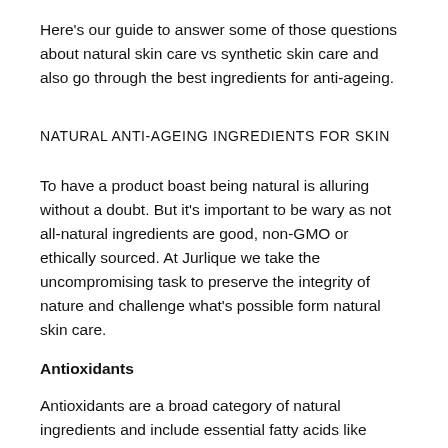Here's our guide to answer some of those questions about natural skin care vs synthetic skin care and also go through the best ingredients for anti-ageing.
NATURAL ANTI-AGEING INGREDIENTS FOR SKIN
To have a product boast being natural is alluring without a doubt. But it's important to be wary as not all-natural ingredients are good, non-GMO or ethically sourced. At Jurlique we take the uncompromising task to preserve the integrity of nature and challenge what's possible form natural skin care.
Antioxidants
Antioxidants are a broad category of natural ingredients and include essential fatty acids like Rosehip Oil, Grapeseed Oil, Vitamin C and Vitamin E. All of these ingredients boost collagen naturally, aid moisture retention and fight